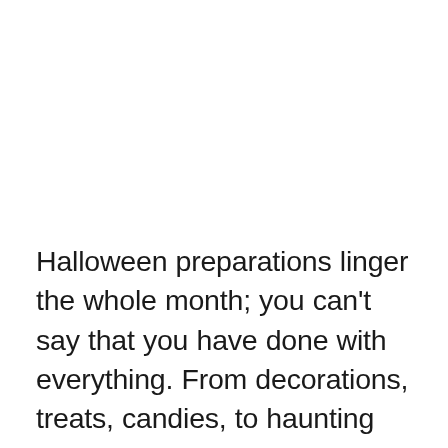Halloween preparations linger the whole month; you can't say that you have done with everything. From decorations, treats, candies, to haunting your friends, and experiencing the terror, there are many ways to celebrate this dreadful festive. Planning a frightening movie night with your friends will jazz up the fun. Decide which night on which want the terror to